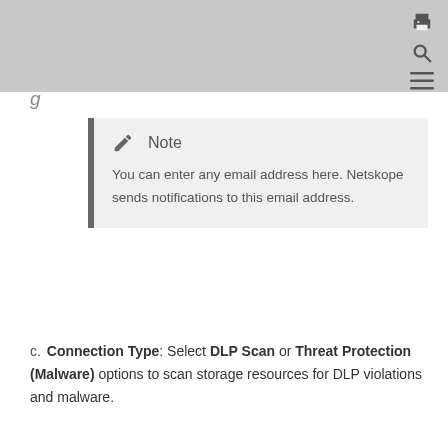(header bar with print, search, and menu icons)
g
Note
You can enter any email address here. Netskope sends notifications to this email address.
c. Connection Type: Select DLP Scan or Threat Protection (Malware) options to scan storage resources for DLP violations and malware.